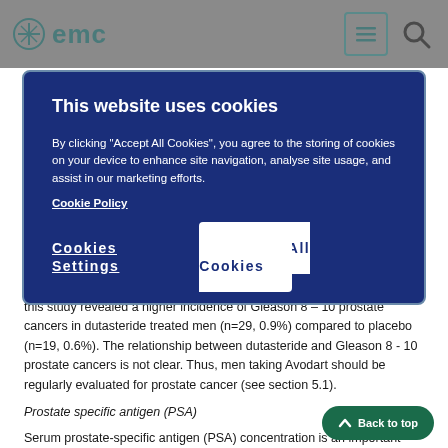emc
This website uses cookies
By clicking “Accept All Cookies”, you agree to the storing of cookies on your device to enhance site navigation, analyse site usage, and assist in our marketing efforts. Cookie Policy
Cookies Settings
Accept All Cookies
this study revealed a higher incidence of Gleason 8 – 10 prostate cancers in dutasteride treated men (n=29, 0.9%) compared to placebo (n=19, 0.6%). The relationship between dutasteride and Gleason 8 - 10 prostate cancers is not clear. Thus, men taking Avodart should be regularly evaluated for prostate cancer (see section 5.1).
Prostate specific antigen (PSA)
Serum prostate-specific antigen (PSA) concentration is an important component in the detection of prostate cancer. Avodart causes a decrease in mean serum PSA levels by approximately 50%, after 6 months of treatment.
Patients receiving Avodart should have a new PSA baseline established